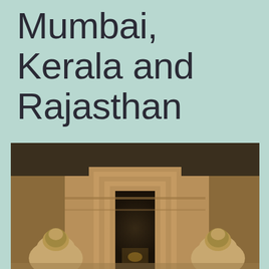Mumbai, Kerala and Rajasthan
[Figure (photo): Interior of a carved stone cave temple with a doorway framed by layered stone moldings leading into a dark inner sanctum, flanked by two stone lion or guardian figures in the foreground, illuminated by soft light showing the sandy-brown rock-cut walls.]